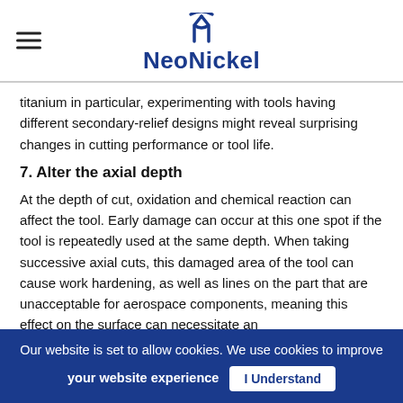NeoNickel
titanium in particular, experimenting with tools having different secondary-relief designs might reveal surprising changes in cutting performance or tool life.
7. Alter the axial depth
At the depth of cut, oxidation and chemical reaction can affect the tool. Early damage can occur at this one spot if the tool is repeatedly used at the same depth. When taking successive axial cuts, this damaged area of the tool can cause work hardening, as well as lines on the part that are unacceptable for aerospace components, meaning this effect on the surface can necessitate an
Our website is set to allow cookies. We use cookies to improve your website experience  I Understand